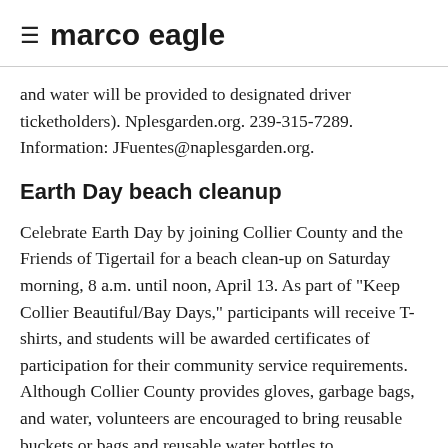marco eagle
and water will be provided to designated driver ticketholders). Nplesgarden.org. 239-315-7289. Information: JFuentes@naplesgarden.org.
Earth Day beach cleanup
Celebrate Earth Day by joining Collier County and the Friends of Tigertail for a beach clean-up on Saturday morning, 8 a.m. until noon, April 13. As part of "Keep Collier Beautiful/Bay Days," participants will receive T-shirts, and students will be awarded certificates of participation for their community service requirements. Although Collier County provides gloves, garbage bags, and water, volunteers are encouraged to bring reusable buckets or bags and reusable water bottles to